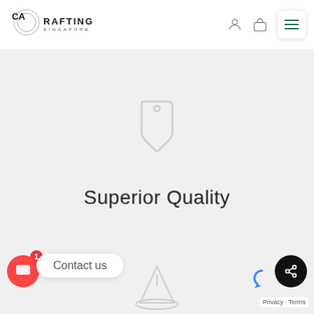[Figure (logo): CA Crafting Singapore logo with circular emblem]
[Figure (illustration): Price tag icon in light gray outline style]
Superior Quality
[Figure (illustration): Clock/timer icon in light gray outline style]
Out Field Time
[Figure (other): Contact us chat button with red background and badge showing 1]
Contact us
[Figure (other): Share button (dark circle with share icon)]
Privacy · Terms